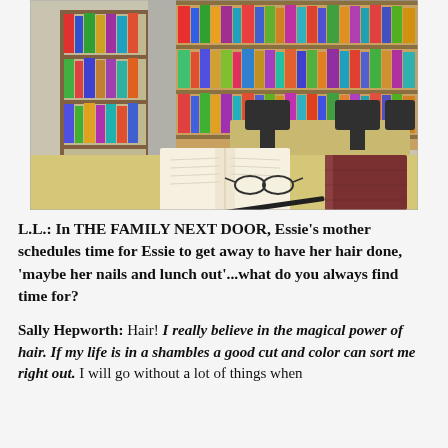[Figure (photo): Library interior with bookshelves full of colorful books in the background and study tables with black chairs in the middle ground. In the foreground is a beige/tan table with an open book, reading glasses, a pen, and a closed burgundy/dark red notebook.]
L.L.: In THE FAMILY NEXT DOOR, Essie’s mother schedules time for Essie to get away to have her hair done, ‘maybe her nails and lunch out’...what do you always find time for?
Sally Hepworth: Hair! I really believe in the magical power of hair. If my life is in a shambles a good cut and color can sort me right out. I will go without a lot of things when